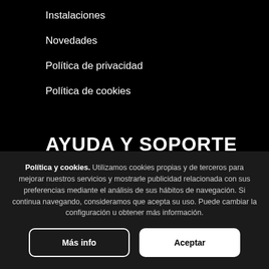Instalaciones
Novedades
Política de privacidad
Política de cookies
AYUDA Y SOPORTE
FAQs
Política y cookies. Utilizamos cookies propias y de terceros para mejorar nuestros servicios y mostrarle publicidad relacionada con sus preferencias mediante el análisis de sus hábitos de navegación. Si continua navegando, consideramos que acepta su uso. Puede cambiar la configuración u obtener más información.
Más info
Aceptar